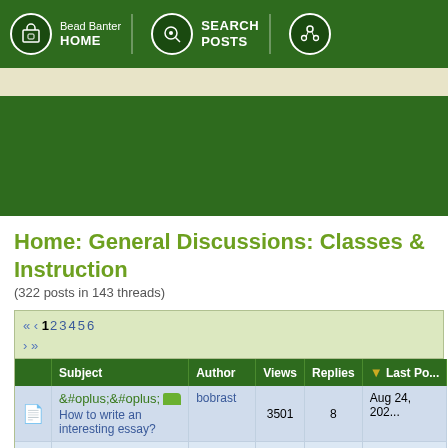Bead Banter HOME | SEARCH POSTS
Home: General Discussions: Classes & Instruction
(322 posts in 143 threads)
|  | Subject | Author | Views | Replies | Last Po... |
| --- | --- | --- | --- | --- | --- |
|  | How to write an interesting essay? | bobrast | 3501 | 8 | Aug 24, 202... |
|  | Papergraders | Mike2020 | 4432 | 7 | Aug 24, 202... |